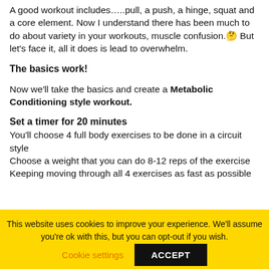A good workout includes…..pull, a push, a hinge, squat and a core element. Now I understand there has been much to do about variety in your workouts, muscle confusion.🤔 But let's face it, all it does is lead to overwhelm.
The basics work!
Now we'll take the basics and create a Metabolic Conditioning style workout.
Set a timer for 20 minutes
You'll choose 4 full body exercises to be done in a circuit style
Choose a weight that you can do 8-12 reps of the exercise
Keeping moving through all 4 exercises as fast as possible
This website uses cookies to improve your experience. We'll assume you're ok with this, but you can opt-out if you wish.